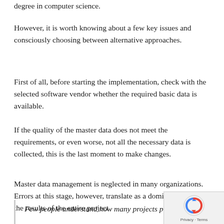degree in computer science.
However, it is worth knowing about a few key issues and consciously choosing between alternative approaches.
First of all, before starting the implementation, check with the selected software vendor whether the required basic data is available.
If the quality of the master data does not meet the requirements, or even worse, not all the necessary data is collected, this is the last moment to make changes.
Master data management is neglected in many organizations. Errors at this stage, however, translate as a domino effect on the results of the entire project
Few people understand how many projects p…